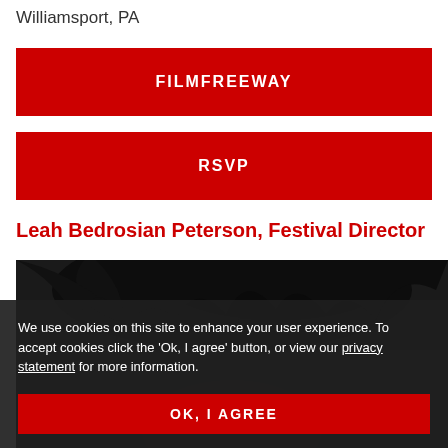Williamsport, PA
FILMFREEWAY
RSVP
Leah Bedrosian Peterson, Festival Director
[Figure (photo): Portrait photo of Leah Bedrosian Peterson, showing the top of her head with dark hair]
We use cookies on this site to enhance your user experience. To accept cookies click the 'Ok, I agree' button, or view our privacy statement for more information.
OK, I AGREE